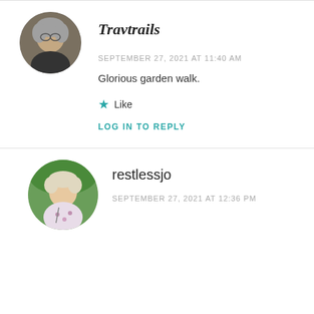[Figure (other): Circular avatar photo of Travtrails user — older person with gray hair]
Travtrails
SEPTEMBER 27, 2021 AT 11:40 AM
Glorious garden walk.
★ Like
LOG IN TO REPLY
[Figure (other): Circular avatar photo of restlessjo user — older woman with light hair, wearing a floral top]
restlessjo
SEPTEMBER 27, 2021 AT 12:36 PM